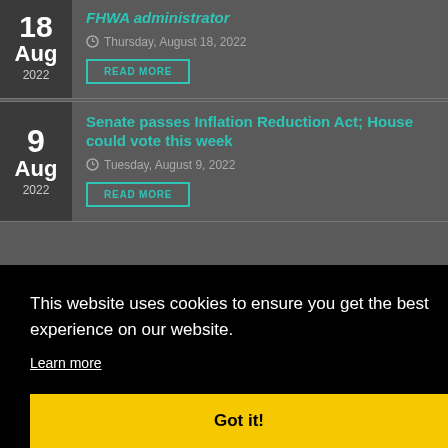18 Aug 2022 — Thursday, August 18, 2022 — READ MORE
9 Aug 2022 — Senate passes Inflation Reduction Act; House could vote this week — Tuesday, August 9, 2022 — READ MORE
This website uses cookies to ensure you get the best experience on our website.
Learn more
Got it!